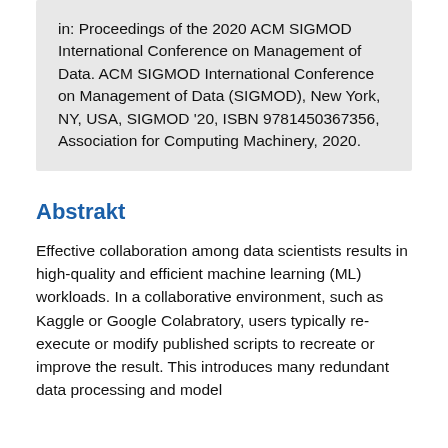in: Proceedings of the 2020 ACM SIGMOD International Conference on Management of Data. ACM SIGMOD International Conference on Management of Data (SIGMOD), New York, NY, USA, SIGMOD '20, ISBN 9781450367356, Association for Computing Machinery, 2020.
Abstrakt
Effective collaboration among data scientists results in high-quality and efficient machine learning (ML) workloads. In a collaborative environment, such as Kaggle or Google Colabratory, users typically re-execute or modify published scripts to recreate or improve the result. This introduces many redundant data processing and model